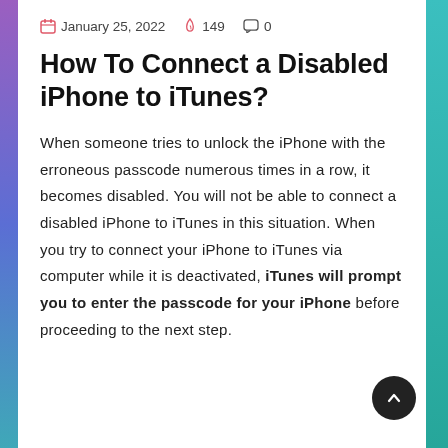January 25, 2022  149  0
How To Connect a Disabled iPhone to iTunes?
When someone tries to unlock the iPhone with the erroneous passcode numerous times in a row, it becomes disabled. You will not be able to connect a disabled iPhone to iTunes in this situation. When you try to connect your iPhone to iTunes via computer while it is deactivated, iTunes will prompt you to enter the passcode for your iPhone before proceeding to the next step.